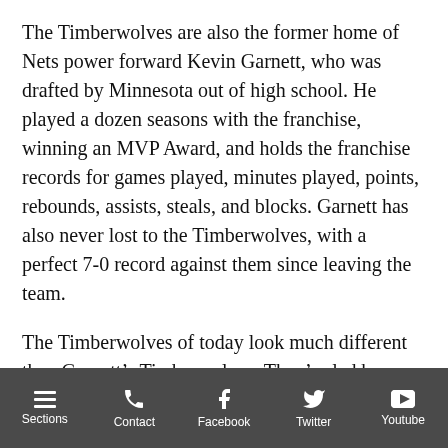The Timberwolves are also the former home of Nets power forward Kevin Garnett, who was drafted by Minnesota out of high school. He played a dozen seasons with the franchise, winning an MVP Award, and holds the franchise records for games played, minutes played, points, rebounds, assists, steals, and blocks. Garnett has also never lost to the Timberwolves, with a perfect 7-0 record against them since leaving the team.
The Timberwolves of today look much different than Garnett’s Timberwolves. They’re led by Kevin Love, arguably the best big man in the NBA, Kevin Martin, one of the NBA’s best and most awkward shooters, and Ricky Rubio, one of the NBA’s most creative passers and shot
Sections  Contact  Facebook  Twitter  Youtube